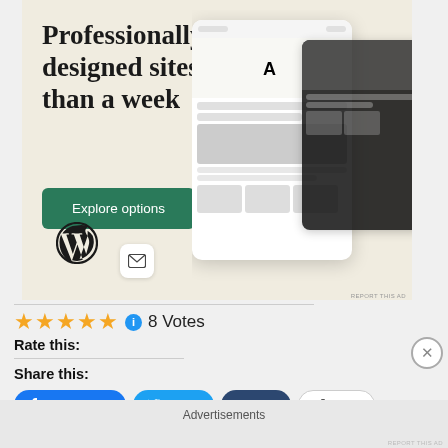[Figure (screenshot): WordPress advertisement banner with beige background showing 'Professionally designed sites in less than a week', green 'Explore options' button, WordPress logo, and mockup website screenshots on the right]
REPORT THIS AD
★★★★★ ℹ 8 Votes
Rate this:
Share this:
Share 3.7K  Tweet  Post  More
Advertisements
REPORT THIS AD